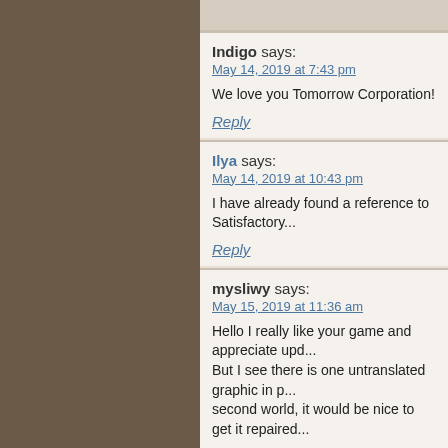Indigo says:
May 14, 2019 at 7:43 pm
We love you Tomorrow Corporation!
Reply
Ilya says:
May 14, 2019 at 10:43 pm
I have already found a reference to Satisfactory...
Reply
mysliwy says:
May 15, 2019 at 11:36 am
Hello I really like your game and appreciate upd... But I see there is one untranslated graphic in p... second world, it would be nice to get it repaired...
Reply
mysliwy says:
May 15, 2019 at 11:45 am
Oh and just to sum up polish texts at the en...